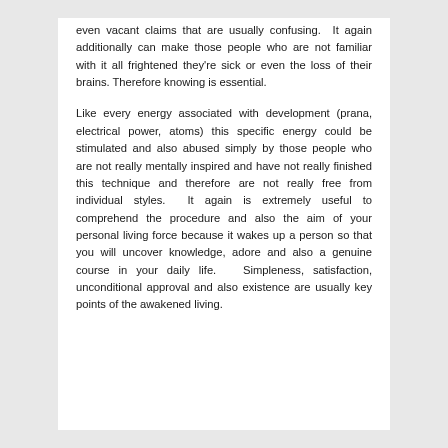even vacant claims that are usually confusing. It again additionally can make those people who are not familiar with it all frightened they're sick or even the loss of their brains. Therefore knowing is essential.
Like every energy associated with development (prana, electrical power, atoms) this specific energy could be stimulated and also abused simply by those people who are not really mentally inspired and have not really finished this technique and therefore are not really free from individual styles. It again is extremely useful to comprehend the procedure and also the aim of your personal living force because it wakes up a person so that you will uncover knowledge, adore and also a genuine course in your daily life. Simpleness, satisfaction, unconditional approval and also existence are usually key points of the awakened living.